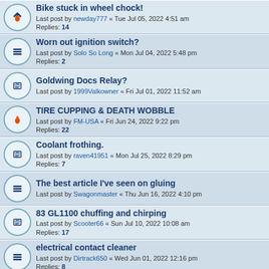Bike stuck in wheel chock! Last post by newday777 « Tue Jul 05, 2022 4:51 am Replies: 14
Worn out ignition switch? Last post by Solo So Long « Mon Jul 04, 2022 5:48 pm Replies: 2
Goldwing Docs Relay? Last post by 1999Valkowner « Fri Jul 01, 2022 11:52 am
TIRE CUPPING & DEATH WOBBLE Last post by FM-USA « Fri Jun 24, 2022 9:22 pm Replies: 22
Coolant frothing. Last post by raven41951 « Mon Jul 25, 2022 8:29 pm Replies: 7
The best article I've seen on gluing Last post by Swagonmaster « Thu Jun 16, 2022 4:10 pm
83 GL1100 chuffing and chirping Last post by Scooter66 « Sun Jul 10, 2022 10:08 am Replies: 17
electrical contact cleaner Last post by Dirtrack650 « Wed Jun 01, 2022 12:16 pm Replies: 8